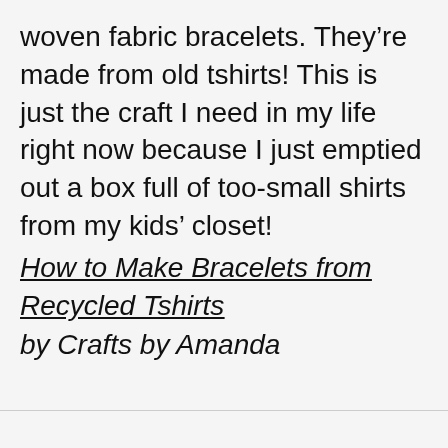woven fabric bracelets. They're made from old tshirts! This is just the craft I need in my life right now because I just emptied out a box full of too-small shirts from my kids' closet! How to Make Bracelets from Recycled Tshirts by Crafts by Amanda